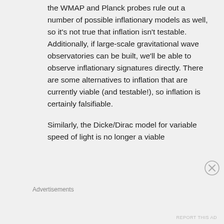the WMAP and Planck probes rule out a number of possible inflationary models as well, so it's not true that inflation isn't testable. Additionally, if large-scale gravitational wave observatories can be built, we'll be able to observe inflationary signatures directly. There are some alternatives to inflation that are currently viable (and testable!), so inflation is certainly falsifiable.

Similarly, the Dicke/Dirac model for variable speed of light is no longer a viable
Advertisements